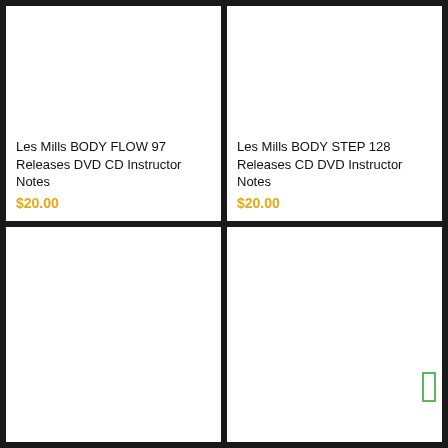Les Mills BODY FLOW 97 Releases DVD CD Instructor Notes
$20.00
Les Mills BODY STEP 128 Releases CD DVD Instructor Notes
$20.00